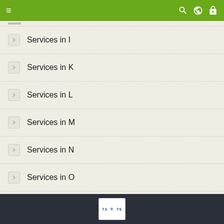Navigation header with menu, search, globe, and lock icons
Services in I
Services in K
Services in L
Services in M
Services in N
Services in O
Services in P
pand
partmon
pcmcia
pg_autovacuum
CAPTCHA verification footer